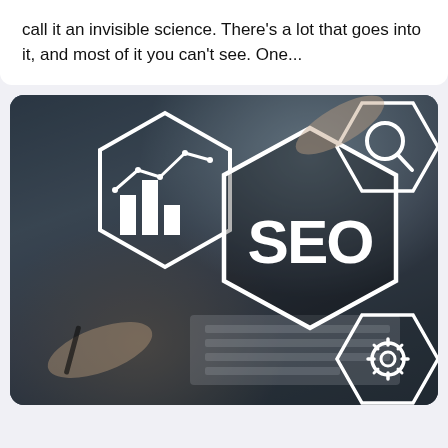call it an invisible science. There's a lot that goes into it, and most of it you can't see. One...
[Figure (photo): Photo of a business workspace with hands holding a pen near a keyboard and monitor, overlaid with white hexagonal SEO icons including bar chart/analytics icon, SEO text in center hexagon, magnifying glass icon top right, and gear icon bottom right.]